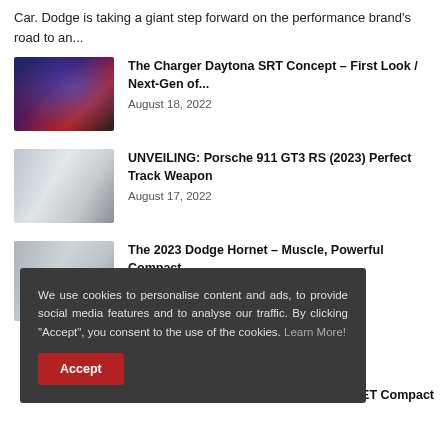Car. Dodge is taking a giant step forward on the performance brand's road to an...
The Charger Daytona SRT Concept – First Look / Next-Gen of... August 18, 2022
UNVEILING: Porsche 911 GT3 RS (2023) Perfect Track Weapon August 17, 2022
The 2023 Dodge Hornet – Muscle, Powerful Compact Crossover...
We use cookies to personalise content and ads, to provide social media features and to analyse our traffic. By clicking "Accept", you consent to the use of the cookies. Learn More!
GE HORNET Compact